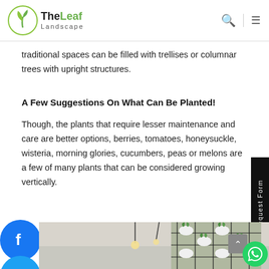TheLeaf Landscape
traditional spaces can be filled with trellises or columnar trees with upright structures.
A Few Suggestions On What Can Be Planted!
Though, the plants that require lesser maintenance and care are better options, berries, tomatoes, honeysuckle, wisteria, morning glories, cucumbers, peas or melons are a few of many plants that can be considered growing vertically.
[Figure (photo): Vertical garden with metal wire cube frame structure holding white pots with green leafy plants, suspended from ceiling with pendant lights in background.]